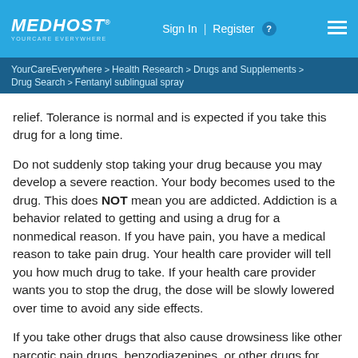MEDHOST YOURCARE EVERYWHERE | Sign In | Register | ☰
YourCareEverywhere > Health Research > Drugs and Supplements > Drug Search > Fentanyl sublingual spray
relief. Tolerance is normal and is expected if you take this drug for a long time.
Do not suddenly stop taking your drug because you may develop a severe reaction. Your body becomes used to the drug. This does NOT mean you are addicted. Addiction is a behavior related to getting and using a drug for a nonmedical reason. If you have pain, you have a medical reason to take pain drug. Your health care provider will tell you how much drug to take. If your health care provider wants you to stop the drug, the dose will be slowly lowered over time to avoid any side effects.
If you take other drugs that also cause drowsiness like other narcotic pain drugs, benzodiazepines, or other drugs for sleep, you may have more side effects. Give your health care provider a list of all drugs you use. He or she will tell you how much drug to take. Do not take more drug than directed. Get emergency help right away if you have trouble breathing or severe sleepiness.